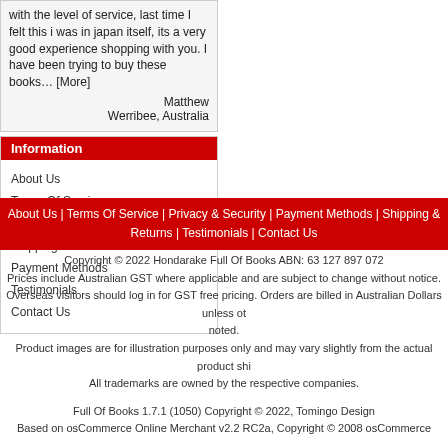with the level of service, last time I felt this i was in japan itself, its a very good experience shopping with you. I have been trying to buy these books… [More]
Matthew
Werribee, Australia
Information
About Us
Terms Of Service
Privacy & Security
Shipping & Returns
Payment Methods
Testimonials
Contact Us
About Us | Terms Of Service | Privacy & Security | Payment Methods | Shipping & Returns | Testimonials | Contact Us
Copyright © 2022 Hondarake Full Of Books ABN: 63 127 897 072
Prices include Australian GST where applicable and are subject to change without notice.
Overseas visitors should log in for GST free pricing. Orders are billed in Australian Dollars unless otherwise noted.
Product images are for illustration purposes only and may vary slightly from the actual product shipped.
All trademarks are owned by the respective companies.
Full Of Books 1.7.1 (1050) Copyright © 2022, Tomingo Design
Based on osCommerce Online Merchant v2.2 RC2a, Copyright © 2008 osCommerce